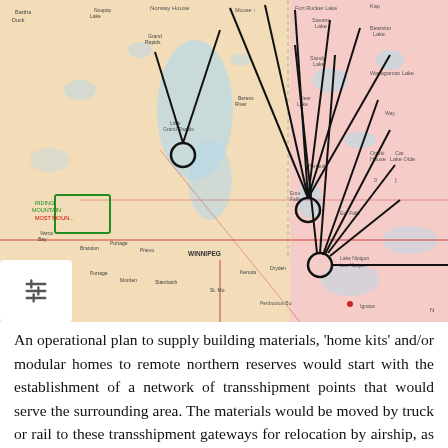[Figure (map): Map of Manitoba and Northwestern Ontario showing transshipment points as circled nodes with radiating lines indicating supply routes to surrounding remote northern reserves. The map shows Winnipeg, Lake Winnipeg, and surrounding regions with annotated hubs.]
An operational plan to supply building materials, 'home kits' and/or modular homes to remote northern reserves would start with the establishment of a network of transshipment points that would serve the surrounding area. The materials would be moved by truck or rail to these transshipment gateways for relocation by airship, as identified on the map of Manitoba and Northwestern